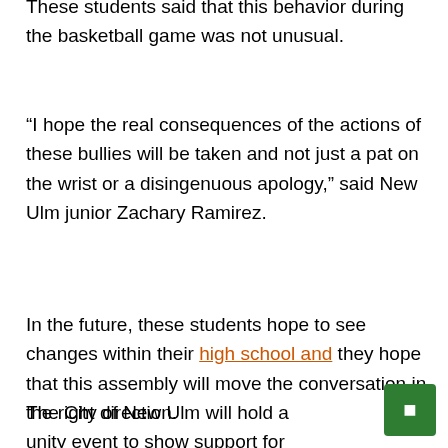These students said that this behavior during the basketball game was not unusual.
“I hope the real consequences of the actions of these bullies will be taken and not just a pat on the wrist or a disingenuous apology,” said New Ulm junior Zachary Ramirez.
In the future, these students hope to see changes within their high school and they hope that this assembly will move the conversation in the right direction.
The City of New Ulm will hold a unity event to show support for the LGBTQ+ community at 1 p.m. Saturday near the intersection of Center and Broadway streets.